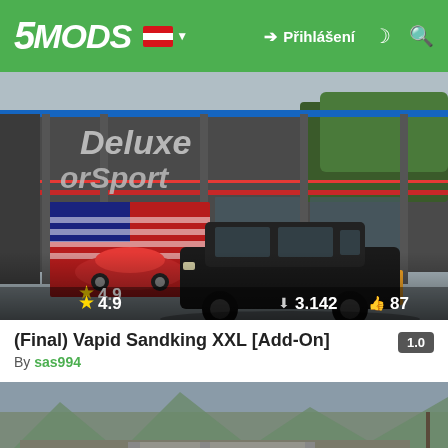5MODS | Přihlášení
[Figure (screenshot): GTA V mod screenshot showing a car dealership building (Luxury Autos/Delude MotorSport) with a black SUV parked in front. Rating: 4.9 stars, 3.142 downloads, 87 likes.]
(Final) Vapid Sandking XXL [Add-On]
By sas994
[Figure (screenshot): GTA V mod screenshot showing multiple police SUVs parked in front of a County Sheriff building.]